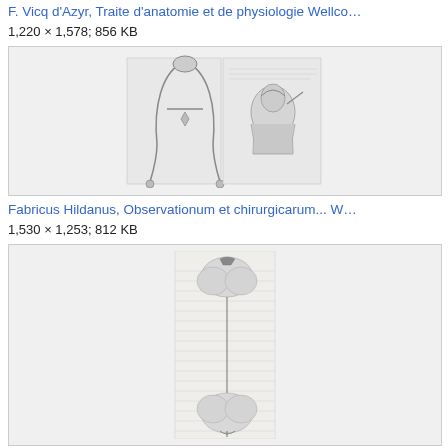F. Vicq d'Azyr, Traite d'anatomie et de physiologie Wellco…
1,220 × 1,578; 856 KB
[Figure (photo): Thumbnail of a historical medical illustration showing surgical instruments (forceps-like tool) on the left page and a portrait illustration on the right page, from a manuscript or historical book.]
Fabricus Hildanus, Observationum et chirurgicarum... W…
1,530 × 1,253; 812 KB
[Figure (illustration): Thumbnail of a historical botanical or anatomical illustration showing two tree-like neurological or plant structures connected by a thin line, drawn in a sketch style on lined paper.]